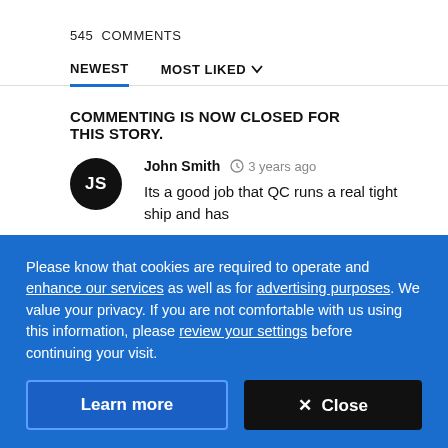545  COMMENTS
NEWEST   MOST LIKED
COMMENTING IS NOW CLOSED FOR THIS STORY.
John Smith  3 years ago
Its a good job that QC runs a real tight ship and has
Please know that cookies are required to operate and enhance our services as well as for advertising purposes. We value your privacy. If you are not comfortable with us using this information, please review your settings before continuing your visit.
Learn more   ✕ Close